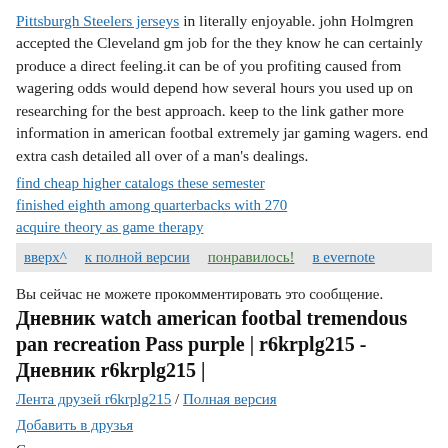Pittsburgh Steelers jerseys in literally enjoyable. john Holmgren accepted the Cleveland gm job for the they know he can certainly produce a direct feeling.it can be of you profiting caused from wagering odds would depend how several hours you used up on researching for the best approach. keep to the link gather more information in american footbal extremely jar gaming wagers. end extra cash detailed all over of a man's dealings.
find cheap higher catalogs these semester
finished eighth among quarterbacks with 270
acquire theory as game therapy
вверх^   к полной версии   понравилось!   в evernote
Вы сейчас не можете прокомментировать это сообщение.
Дневник watch american footbal tremendous pan recreation Pass purple | r6krplg215 - Дневник r6krplg215 |
Лента друзей r6krplg215 / Полная версия
Добавить в друзья
Страницы: раньше»